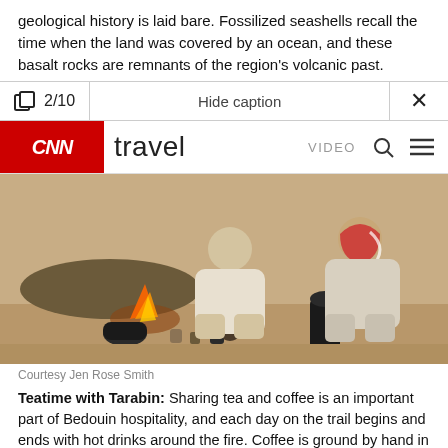geological history is laid bare. Fossilized seashells recall the time when the land was covered by an ocean, and these basalt rocks are remnants of the region's volcanic past.
2/10 | Hide caption | ×
CNN travel | VIDEO
[Figure (photo): Two men in traditional Middle Eastern clothing crouching around a small campfire with metal pots and cups, brewing tea and coffee in a desert setting.]
Courtesy Jen Rose Smith
Teatime with Tarabin: Sharing tea and coffee is an important part of Bedouin hospitality, and each day on the trail begins and ends with hot drinks around the fire. Coffee is ground by hand in a mortar and pestle and infused with aromatic cardamom. Tea comes with an energetic dose of sugar.